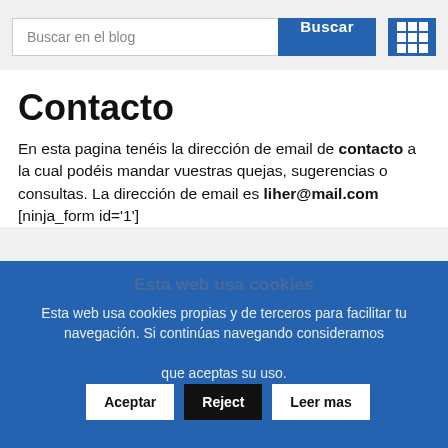Buscar en el blog
Contacto
En esta pagina tenéis la dirección de email de contacto a la cual podéis mandar vuestras quejas, sugerencias o consultas. La dirección de email es liher@mail.com [ninja_form id='1']
Esta web usa cookies
Esta web usa cookies propias y de terceros para facilitar tu navegación. Si continúas navegando consideramos que aceptas su uso.